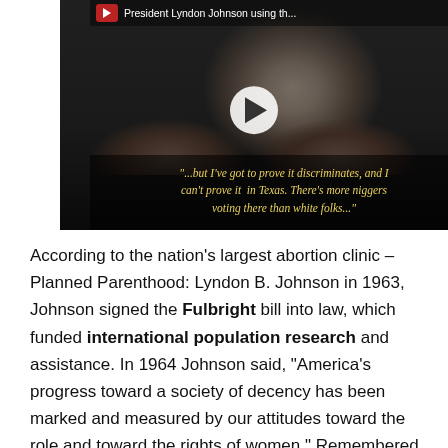[Figure (screenshot): Video thumbnail showing a black-and-white photo of a man with his hands on his head, overlaid with yellow italic text quoting a racial slur. Video title bar at top reads 'President Lyndon Johnson using th...' with a play button in the center.]
According to the nation's largest abortion clinic – Planned Parenthood: Lyndon B. Johnson in 1963, Johnson signed the Fulbright bill into law, which funded international population research and assistance. In 1964 Johnson said, "America's progress toward a society of decency has been marked and measured by our attitudes toward the role and toward the rights of women." Remembered for the Vietnam War, the War on Poverty, and the Great Society,